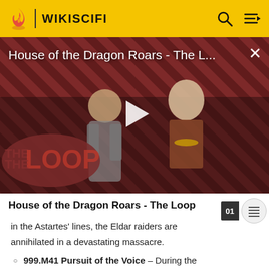WIKISCIFI
[Figure (screenshot): Video thumbnail showing House of the Dragon Roars - The Loop with two characters on a diagonal stripe background, The Loop logo visible, and a play button in the center]
House of the Dragon Roars - The Loop
in the Astartes' lines, the Eldar raiders are annihilated in a devastating massacre.
999.M41 Pursuit of the Voice - During the